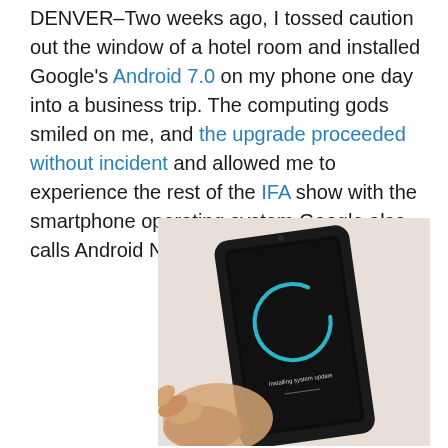DENVER–Two weeks ago, I tossed caution out the window of a hotel room and installed Google's Android 7.0 on my phone one day into a business trip. The computing gods smiled on me, and the upgrade proceeded without incident and allowed me to experience the rest of the IFA show with the smartphone operating system Google also calls Android Nougat.
[Figure (photo): A hand holding a black smartphone displaying an Android system update screen with a teal/blue circular progress ring and text reading 'Installing system update' on a dark background. The phone is photographed against a light beige/white background.]